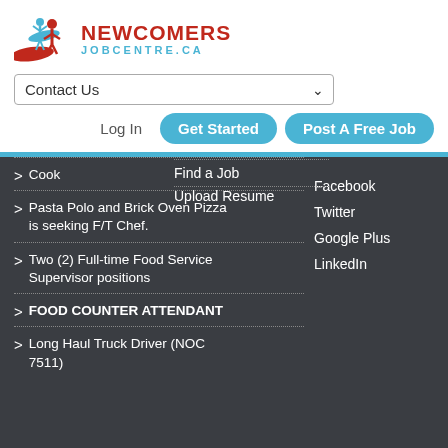[Figure (logo): Newcomers Job Centre logo with swoosh graphic and text NEWCOMERS JOBCENTRE.CA]
Contact Us
Log In  Get Started  Post A Free Job
Cook
Find a Job
Upload Resume
Pasta Polo and Brick Oven Pizza is seeking F/T Chef.
Two (2) Full-time Food Service Supervisor positions
FOOD COUNTER ATTENDANT
Long Haul Truck Driver (NOC 7511)
Facebook
Twitter
Google Plus
LinkedIn
2022 © NEWCOMERS JOB CENTRE. All Rights Reserved.